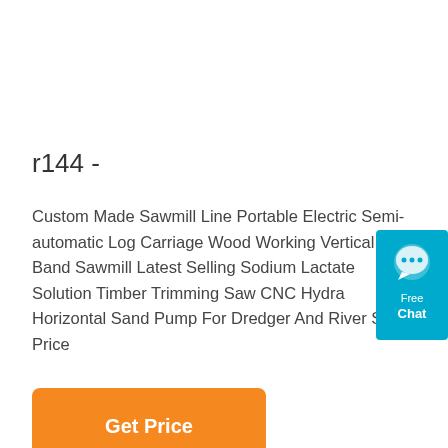r144 -
Custom Made Sawmill Line Portable Electric Semi-automatic Log Carriage Wood Working Vertical Band Sawmill Latest Selling Sodium Lactate Solution Timber Trimming Saw CNC Hydra Horizontal Sand Pump For Dredger And River Sand Price
[Figure (other): Orange 'Get Price' button]
[Figure (other): Blue 'Free Chat' widget with chat bubble icon on the right edge]